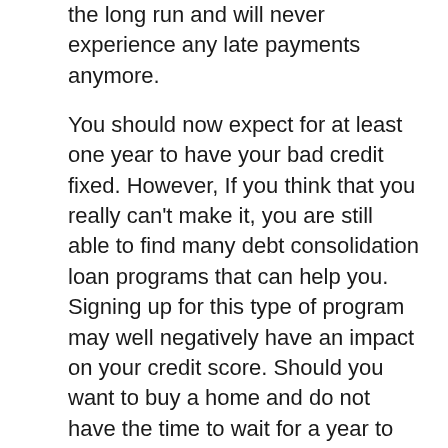the long run and will never experience any late payments anymore.
You should now expect for at least one year to have your bad credit fixed. However, If you think that you really can't make it, you are still able to find many debt consolidation loan programs that can help you. Signing up for this type of program may well negatively have an impact on your credit score. Should you want to buy a home and do not have the time to wait for a year to get your bad credit fixed, you are still can achieve your dream to be a homeowner but you will need to spend a lot of times and shopping around to find any lender who willing to approve you the loan that you are looking for.